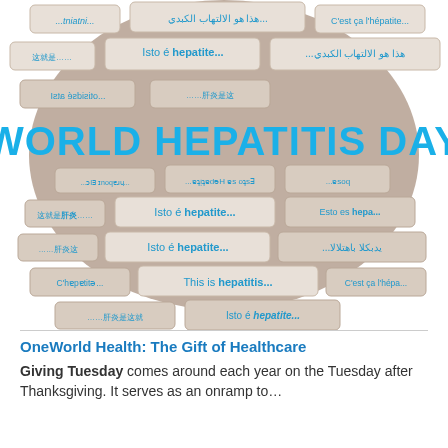[Figure (illustration): World Hepatitis Day globe made of speech bubbles/tiles in multiple languages (Arabic, Portuguese, Chinese, French, English) saying 'This is hepatitis...' with the text 'WORLD HEPATITIS DAY' in large cyan/blue letters across the middle]
OneWorld Health: The Gift of Healthcare
Giving Tuesday comes around each year on the Tuesday after Thanksgiving. It serves as an onramp to…